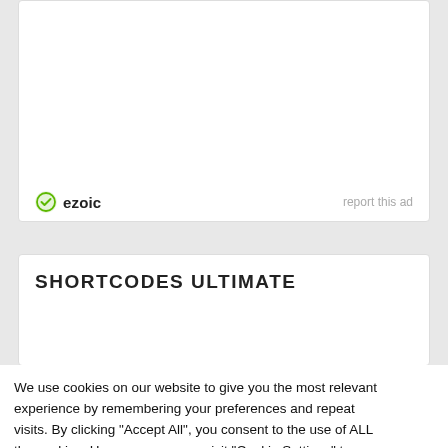[Figure (other): Ezoic ad card with white background, showing ezoic logo with green circle checkmark icon and 'ezoic' text in bold, and 'report this ad' link in grey on the right]
SHORTCODES ULTIMATE
We use cookies on our website to give you the most relevant experience by remembering your preferences and repeat visits. By clicking “Accept All”, you consent to the use of ALL the cookies. However, you may visit "Cookie Settings" to provide a controlled consent.